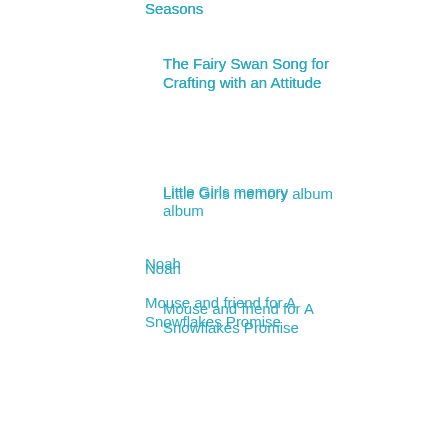Seasons
The Fairy Swan Song for Crafting with an Attitude
Little Girls memory album
Noah
Mouse and friend for A Snowflakes Promise
Playdate
Love Note Fairy for the challenge over at Crafty G...